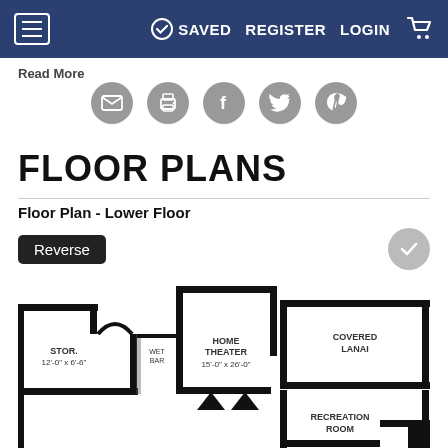SAVED  REGISTER  LOGIN
Read More
[Figure (infographic): Social sharing icons row: email, print, Facebook, Twitter, Pinterest]
FLOOR PLANS
Floor Plan - Lower Floor
Reverse
[Figure (engineering-diagram): Lower floor plan showing: STOR. 12'-0" x 6'-6", WET BAR, HOME THEATER 15'-0" x 26'-0", COVERED LANAI, RECREATION ROOM]